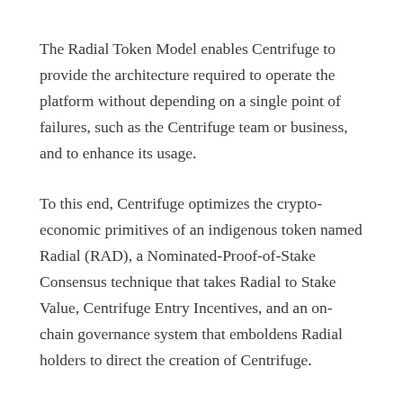The Radial Token Model enables Centrifuge to provide the architecture required to operate the platform without depending on a single point of failures, such as the Centrifuge team or business, and to enhance its usage.
To this end, Centrifuge optimizes the crypto-economic primitives of an indigenous token named Radial (RAD), a Nominated-Proof-of-Stake Consensus technique that takes Radial to Stake Value, Centrifuge Entry Incentives, and an on-chain governance system that emboldens Radial holders to direct the creation of Centrifuge.